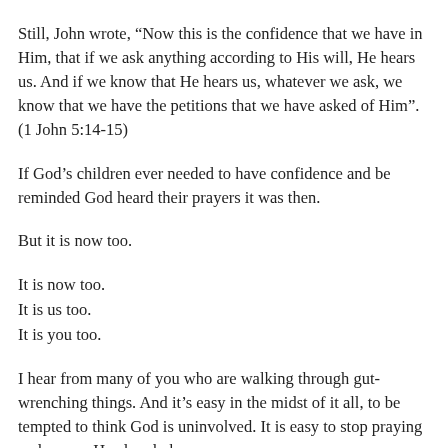Still, John wrote, “Now this is the confidence that we have in Him, that if we ask anything according to His will, He hears us. And if we know that He hears us, whatever we ask, we know that we have the petitions that we have asked of Him”. (1 John 5:14-15)
If God’s children ever needed to have confidence and be reminded God heard their prayers it was then.
But it is now too.
It is now too.
It is us too.
It is you too.
I hear from many of you who are walking through gut-wrenching things. And it’s easy in the midst of it all, to be tempted to think God is uninvolved. It is easy to stop praying and reason He already knows